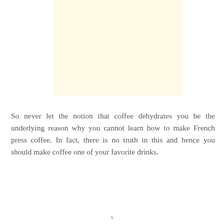[Figure (other): A plain pale yellow rectangle, likely a placeholder image or image background.]
So never let the notion that coffee dehydrates you be the underlying reason why you cannot learn how to make French press coffee. In fact, there is no truth in this and hence you should make coffee one of your favorite drinks.
x